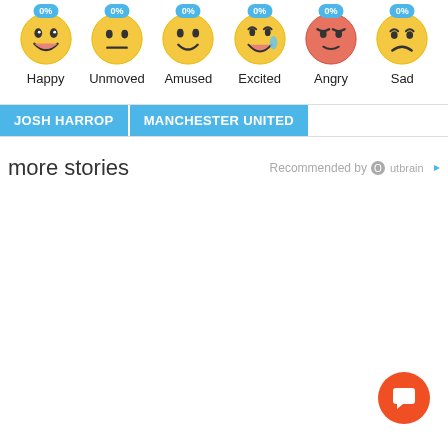[Figure (infographic): Six emoji faces each with a blue badge showing 0%. Labels: Happy, Unmoved, Amused, Excited, Angry, Sad.]
JOSH HARROP   MANCHESTER UNITED
more stories   Recommended by Outbrain